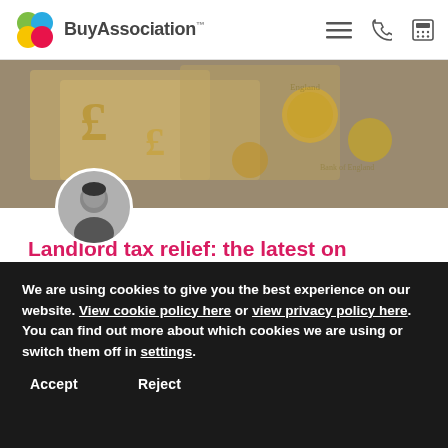BuyAssociation
[Figure (photo): Close-up photo of British pound sterling notes and coins scattered on a surface]
[Figure (photo): Circular avatar photo of a woman in black and white]
Landlord tax relief: the latest on Section 24 for individual landlords in 2019
Since April 2017, the amount of tax relief landlords can claim on finance costs has been reducing. Are you up to
We are using cookies to give you the best experience on our website. View cookie policy here or view privacy policy here. You can find out more about which cookies we are using or switch them off in settings.
Accept
Reject